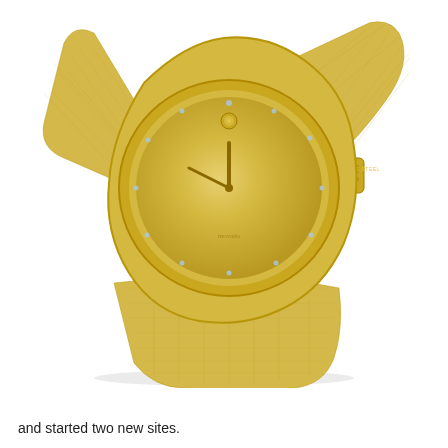[Figure (photo): A gold-tone Movado Bold watch with a sunray champagne dial, small crystal hour markers, a single dot at 12 o'clock, and a gold-tone stainless steel mesh bracelet. The watch is photographed at an angle showing the dial, case, crown, and clasp.]
and started two new sites.